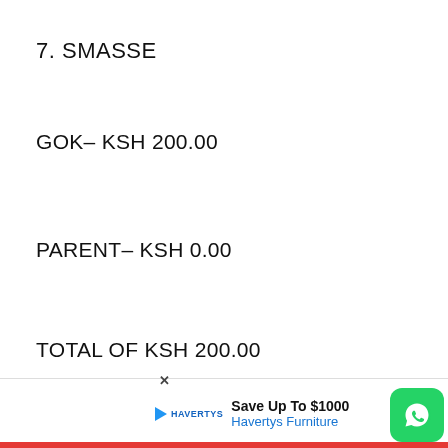7. SMASSE
GOK– KSH 200.00
PARENT– KSH 0.00
TOTAL OF KSH 200.00
8.TOTAL SCHOOL FEES